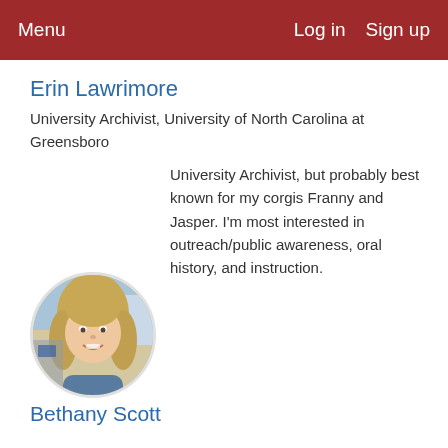Menu   Log in   Sign up
Erin Lawrimore
University Archivist, University of North Carolina at Greensboro
University Archivist, but probably best known for my corgis Franny and Jasper. I'm most interested in outreach/public awareness, oral history, and instruction.
[Figure (photo): Circular profile photo of Bethany Scott, a woman with blonde hair, smiling, photographed outdoors]
Bethany Scott